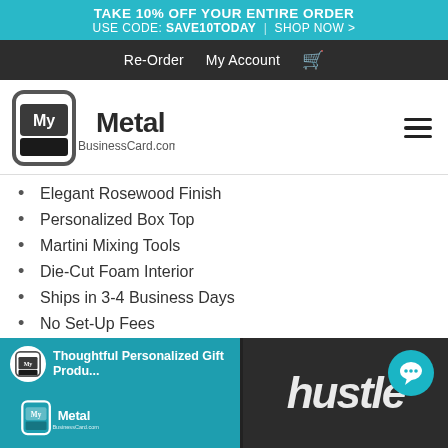TAKE 10% OFF YOUR ENTIRE ORDER USE CODE: SAVE10TODAY | SHOP NOW >
Re-Order  My Account  🛒
[Figure (logo): MyMetal BusinessCard.com logo with hamburger menu icon]
Elegant Rosewood Finish
Personalized Box Top
Martini Mixing Tools
Die-Cut Foam Interior
Ships in 3-4 Business Days
No Set-Up Fees
[Figure (screenshot): Video thumbnail showing MyMetal BusinessCard.com logo, text 'Thoughtful Personalized Gift Produ...' and a dark panel with stylized 'Hustle' script text, with a teal chat bubble overlay]